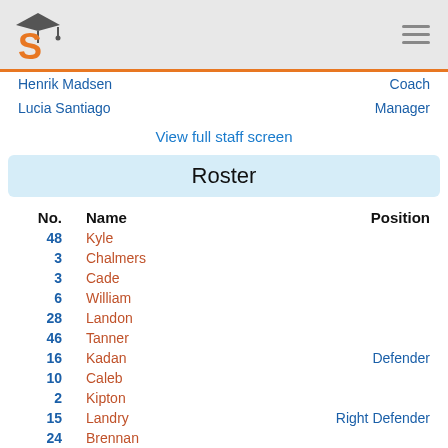S [logo] / hamburger menu
| No. | Name | Position |
| --- | --- | --- |
| 48 | Kyle |  |
| 3 | Chalmers |  |
| 3 | Cade |  |
| 6 | William |  |
| 28 | Landon |  |
| 46 | Tanner |  |
| 16 | Kadan | Defender |
| 10 | Caleb |  |
| 2 | Kipton |  |
| 15 | Landry | Right Defender |
| 24 | Brennan |  |
| 64 | Sam |  |
| 64 | Samuel |  |
| 20 | Maxim |  |
| 18 | Patrick |  |